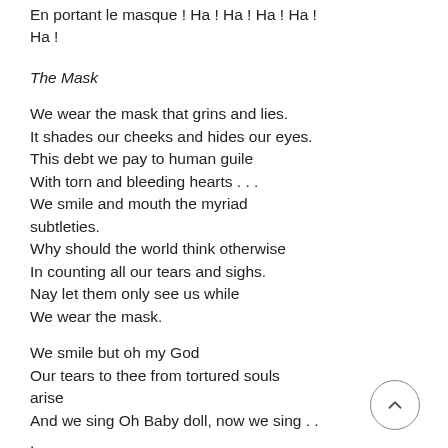En portant le masque ! Ha ! Ha ! Ha ! Ha ! Ha !
The Mask
We wear the mask that grins and lies.
It shades our cheeks and hides our eyes.
This debt we pay to human guile
With torn and bleeding hearts . . .
We smile and mouth the myriad subtleties.
Why should the world think otherwise
In counting all our tears and sighs.
Nay let them only see us while
We wear the mask.
We smile but oh my God
Our tears to thee from tortured souls arise
And we sing Oh Baby doll, now we sing . . .
.
The clay is vile beneath our feet
And long the mile